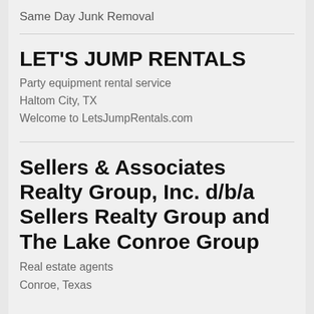Same Day Junk Removal
LET'S JUMP RENTALS
Party equipment rental service
Haltom City, TX
Welcome to LetsJumpRentals.com
Sellers & Associates Realty Group, Inc. d/b/a Sellers Realty Group and The Lake Conroe Group
Real estate agents
Conroe, Texas